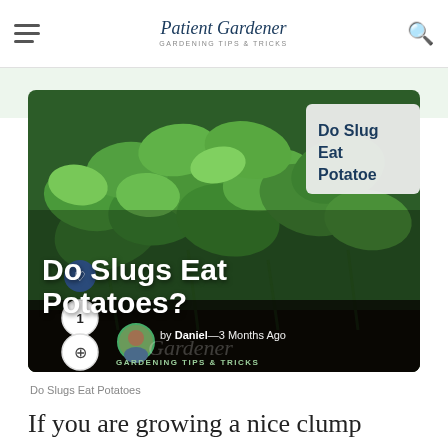Patient Gardener — GARDENING TIPS & TRICKS
[Figure (photo): Close-up of lush green potato plant leaves in a garden, with a white card label showing 'Do Slugs Eat Potatoes' in the top right corner. Overlaid with the bold white title 'Do Slugs Eat Potatoes?' and author info 'by Daniel — 3 Months Ago' with GARDENING TIPS & TRICKS category tag.]
Do Slugs Eat Potatoes?
by Daniel — 3 Months Ago
GARDENING TIPS & TRICKS
Do Slugs Eat Potatoes
If you are growing a nice clump